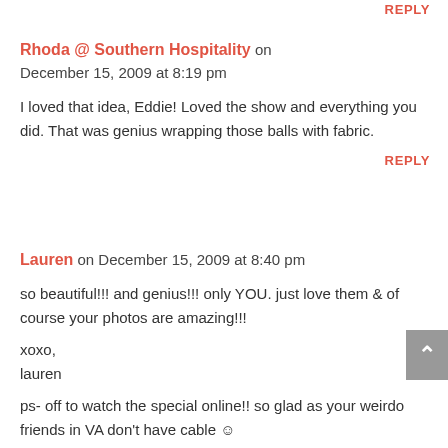REPLY
Rhoda @ Southern Hospitality on December 15, 2009 at 8:19 pm
I loved that idea, Eddie! Loved the show and everything you did. That was genius wrapping those balls with fabric.
REPLY
Lauren on December 15, 2009 at 8:40 pm
so beautiful!!! and genius!!! only YOU. just love them & of course your photos are amazing!!!
xoxo,
lauren
ps- off to watch the special online!! so glad as your weirdo friends in VA don't have cable ☺